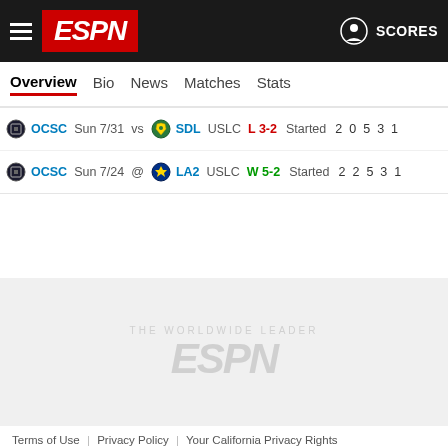ESPN - SCORES
Overview | Bio | News | Matches | Stats
| Team | Date | vs/@ | Opponent | League | Result | Status | Col1 | Col2 | Col3 | Col4 | Col5 |
| --- | --- | --- | --- | --- | --- | --- | --- | --- | --- | --- | --- |
| OCSC | Sun 7/31 | vs | SDL | USLC | L 3-2 | Started | 2 | 0 | 5 | 3 | 1 |
| OCSC | Sun 7/24 | @ | LA2 | USLC | W 5-2 | Started | 2 | 2 | 5 | 3 | 1 |
[Figure (logo): ESPN watermark logo in light gray]
Terms of Use | Privacy Policy | Your California Privacy Rights | Children's Online Privacy Policy | Interest-Based Ads | About Nielsen Measurement | Do Not Sell My Info | Contact Us | Disney Ad Sales Site | Work for ESPN | Copyright: © ESPN Enterprises, Inc. All rights reserved.